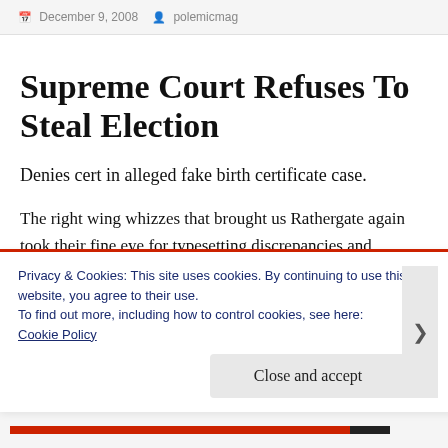December 9, 2008  polemicmag
Supreme Court Refuses To Steal Election
Denies cert in alleged fake birth certificate case.
The right wing whizzes that brought us Rathergate again took their fine eye for typesetting discrepancies and claimed that Obama's
Privacy & Cookies: This site uses cookies. By continuing to use this website, you agree to their use.
To find out more, including how to control cookies, see here: Cookie Policy
Close and accept